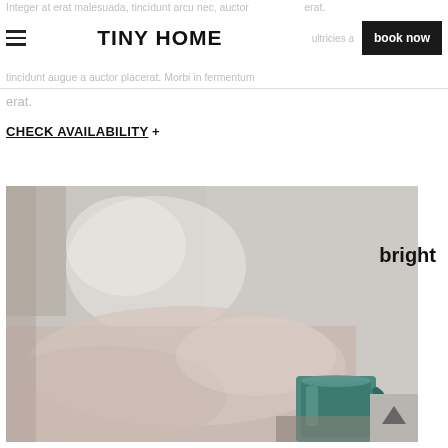Integer at erat malesuada, tincidunt arcu nec, auctor erat. | TINY HOME | book now | tincidunt augue a auctor placerat. Morbi in fermentum erat.
erat.
CHECK AVAILABILITY +
[Figure (photo): A cozy bedroom scene with soft natural light, blurred bedding in warm tones, and a teal/green coffee mug in the foreground on the right side.]
bright